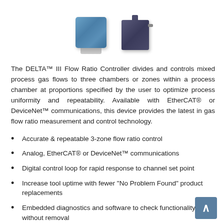[Figure (photo): Two DELTA III Flow Ratio Controller devices shown side by side. Left device is a blue square compact unit. Right device is a dark rectangular unit with a tab connector on top.]
The DELTA™ III Flow Ratio Controller divides and controls mixed process gas flows to three chambers or zones within a process chamber at proportions specified by the user to optimize process uniformity and repeatability. Available with EtherCAT® or DeviceNet™ communications, this device provides the latest in gas flow ratio measurement and control technology.
Accurate & repeatable 3-zone flow ratio control
Analog, EtherCAT® or DeviceNet™ communications
Digital control loop for rapid response to channel set point
Increase tool uptime with fewer "No Problem Found" product replacements
Embedded diagnostics and software to check functionality without removal
Control flow proportion independent of the proce...